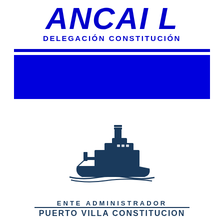[Figure (logo): ANCAP Delegación Constitución logo with large bold italic blue text ANCAP and subtitle DELEGACIÓN CONSTITUCIÓN, followed by a thin blue line and a solid blue rectangle block]
[Figure (logo): Ship silhouette logo for Ente Administrador Puerto Villa Constitución — dark blue stylized cargo/cruise ship with funnel and hull, floating on stylized waves]
ENTE ADMINISTRADOR
PUERTO VILLA CONSTITUCION